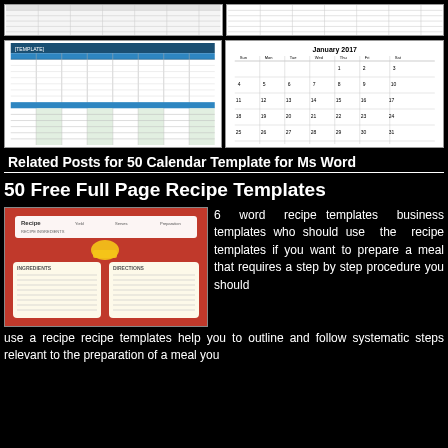[Figure (screenshot): Top row: two calendar template thumbnails on black background]
[Figure (screenshot): Middle left: spreadsheet/attendance calendar template thumbnail]
[Figure (screenshot): Middle right: January 2017 monthly calendar template thumbnail]
Related Posts for 50 Calendar Template for Ms Word
50 Free Full Page Recipe Templates
[Figure (screenshot): Recipe template card with red background, fields for ingredients and directions]
6 word recipe templates business templates who should use the recipe templates if you want to prepare a meal that requires a step by step procedure you should use a recipe recipe templates help you to outline and follow systematic steps relevant to the preparation of a meal you
simply outline [...]